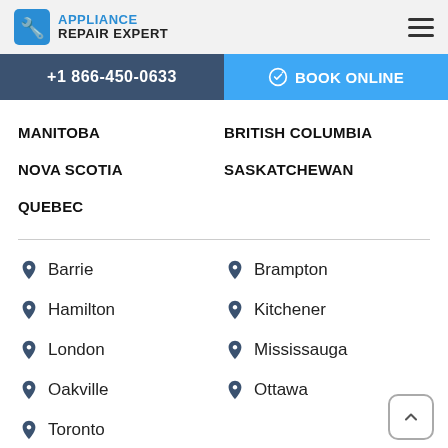APPLIANCE REPAIR EXPERT
+1 866-450-0633 | BOOK ONLINE
MANITOBA
BRITISH COLUMBIA
NOVA SCOTIA
SASKATCHEWAN
QUEBEC
Barrie
Brampton
Hamilton
Kitchener
London
Mississauga
Oakville
Ottawa
Toronto